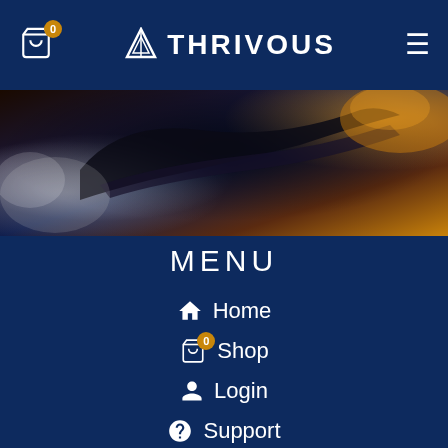Thrivous navigation header with cart icon showing 0, Thrivous logo, and hamburger menu
[Figure (photo): Dark abstract hero image showing a rocket or spacecraft with smoke and warm orange/amber lighting against a dark background]
MENU
Home
Shop (cart with badge 0)
Login
Support
Blog
News (partially visible)